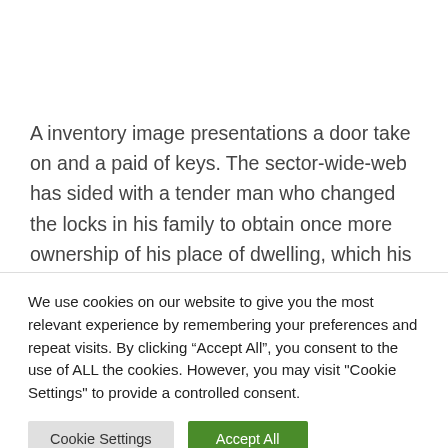A inventory image presentations a door take on and a paid of keys. The sector-wide-web has sided with a tender man who changed the locks in his family to obtain once more ownership of his place of dwelling, which his mother kicked him out of when he used to be simply an adolescent.
We use cookies on our website to give you the most relevant experience by remembering your preferences and repeat visits. By clicking “Accept All”, you consent to the use of ALL the cookies. However, you may visit "Cookie Settings" to provide a controlled consent.